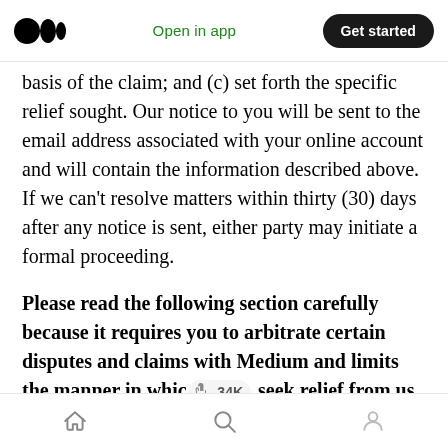Open in app | Get started
basis of the claim; and (c) set forth the specific relief sought. Our notice to you will be sent to the email address associated with your online account and will contain the information described above. If we can't resolve matters within thirty (30) days after any notice is sent, either party may initiate a formal proceeding.
Please read the following section carefully because it requires you to arbitrate certain disputes and claims with Medium and limits the manner in which [clap 34K] seek relief from us, unless you opt out of arbitration by
Home | Search | Profile